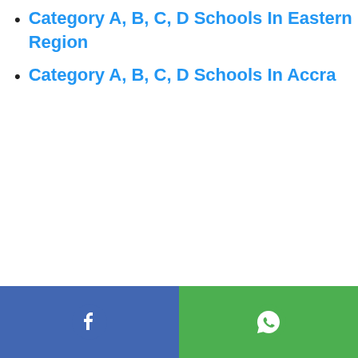Category A, B, C, D Schools In Eastern Region
Category A, B, C, D Schools In Accra